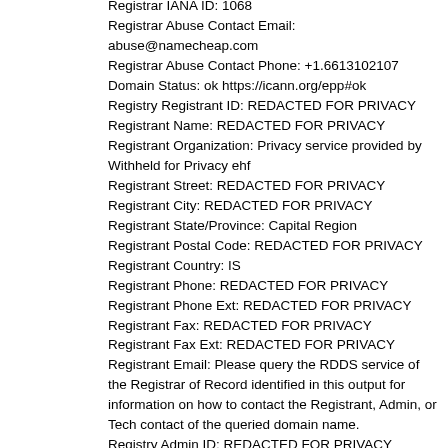Registrar IANA ID: 1068
Registrar Abuse Contact Email: abuse@namecheap.com
Registrar Abuse Contact Phone: +1.6613102107
Domain Status: ok https://icann.org/epp#ok
Registry Registrant ID: REDACTED FOR PRIVACY
Registrant Name: REDACTED FOR PRIVACY
Registrant Organization: Privacy service provided by Withheld for Privacy ehf
Registrant Street: REDACTED FOR PRIVACY
Registrant City: REDACTED FOR PRIVACY
Registrant State/Province: Capital Region
Registrant Postal Code: REDACTED FOR PRIVACY
Registrant Country: IS
Registrant Phone: REDACTED FOR PRIVACY
Registrant Phone Ext: REDACTED FOR PRIVACY
Registrant Fax: REDACTED FOR PRIVACY
Registrant Fax Ext: REDACTED FOR PRIVACY
Registrant Email: Please query the RDDS service of the Registrar of Record identified in this output for information on how to contact the Registrant, Admin, or Tech contact of the queried domain name.
Registry Admin ID: REDACTED FOR PRIVACY